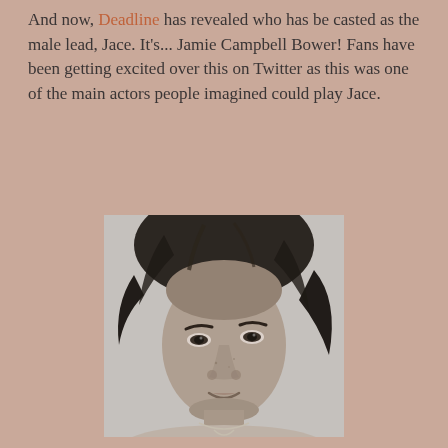And now, Deadline has revealed who has be casted as the male lead, Jace. It's... Jamie Campbell Bower! Fans have been getting excited over this on Twitter as this was one of the main actors people imagined could play Jace.
[Figure (photo): Black and white close-up portrait photo of a young man with tousled dark hair and a necklace, looking directly at the camera with a serious expression.]